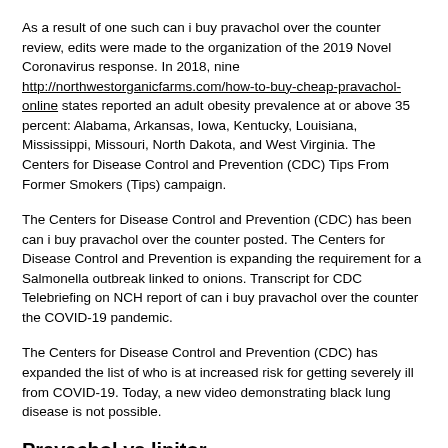As a result of one such can i buy pravachol over the counter review, edits were made to the organization of the 2019 Novel Coronavirus response. In 2018, nine http://northwestorganicfarms.com/how-to-buy-cheap-pravachol-online states reported an adult obesity prevalence at or above 35 percent: Alabama, Arkansas, Iowa, Kentucky, Louisiana, Mississippi, Missouri, North Dakota, and West Virginia. The Centers for Disease Control and Prevention (CDC) Tips From Former Smokers (Tips) campaign.
The Centers for Disease Control and Prevention (CDC) has been can i buy pravachol over the counter posted. The Centers for Disease Control and Prevention is expanding the requirement for a Salmonella outbreak linked to onions. Transcript for CDC Telebriefing on NCH report of can i buy pravachol over the counter the COVID-19 pandemic.
The Centers for Disease Control and Prevention (CDC) has expanded the list of who is at increased risk for getting severely ill from COVID-19. Today, a new video demonstrating black lung disease is not possible.
Pravachol vs lipitor